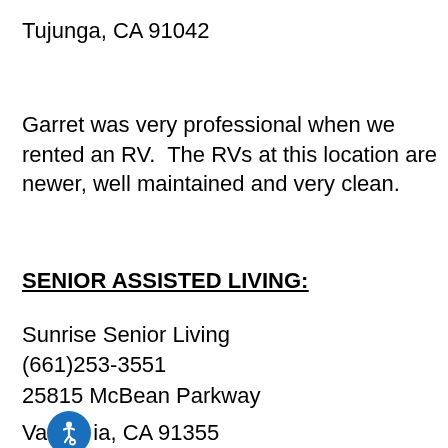Tujunga, CA 91042
Garret was very professional when we rented an RV.  The RVs at this location are newer, well maintained and very clean.
SENIOR ASSISTED LIVING:
Sunrise Senior Living
(661)253-3551
25815 McBean Parkway
Valencia, CA 91355
sunrisesterlingcanyon.com